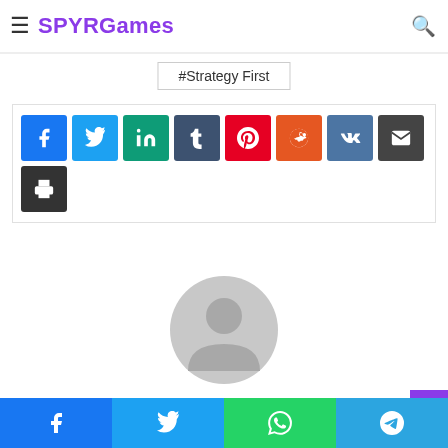SPYRGames — navigation bar with hamburger menu and search icon
#Strategy First
[Figure (infographic): Social media share buttons: Facebook (blue), Twitter (light blue), LinkedIn (teal), Tumblr (dark blue-gray), Pinterest (red), Reddit (orange-red), VK (steel blue), Email (dark gray), Print (dark gray)]
[Figure (illustration): Gray default user avatar profile picture (circular headshot silhouette)]
Noah
Bottom share bar: Facebook, Twitter, WhatsApp, Telegram